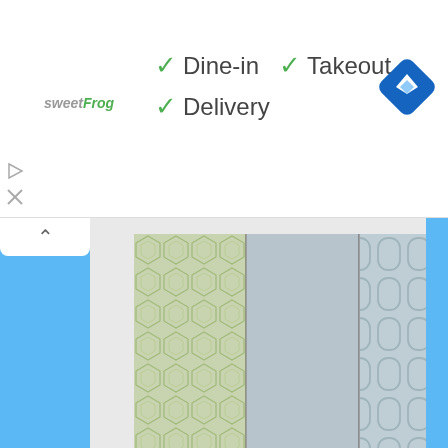[Figure (screenshot): Screenshot of a webpage showing an advertisement banner at top with sweetFrog logo, checkmarks for Dine-in, Takeout, Delivery, a Google Maps navigation diamond icon, and a wallpaper download page for The Sims 4 with modern/retro wallpaper patterns, a Dropbox download button, download count, hashtags, and a comment section.]
Dine-in
Takeout
Delivery
📥 Download
(Downloaded 3154 times)
#om #wallpaper #modern #retro
Aug 10, 2015 at 7:18pm   andrew, dltn43, and 27 more like this